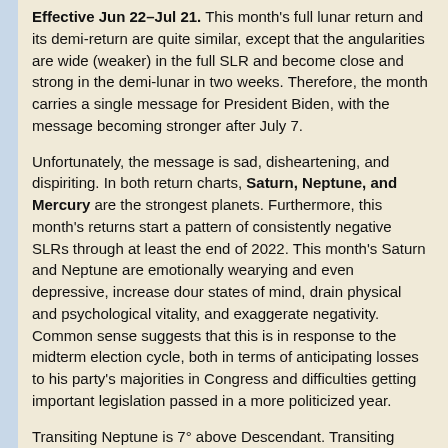Effective Jun 22–Jul 21. This month's full lunar return and its demi-return are quite similar, except that the angularities are wide (weaker) in the full SLR and become close and strong in the demi-lunar in two weeks. Therefore, the month carries a single message for President Biden, with the message becoming stronger after July 7.
Unfortunately, the message is sad, disheartening, and dispiriting. In both return charts, Saturn, Neptune, and Mercury are the strongest planets. Furthermore, this month's returns start a pattern of consistently negative SLRs through at least the end of 2022. This month's Saturn and Neptune are emotionally wearying and even depressive, increase dour states of mind, drain physical and psychological vitality, and exaggerate negativity. Common sense suggests that this is in response to the midterm election cycle, both in terms of anticipating losses to his party's majorities in Congress and difficulties getting important legislation passed in a more politicized year.
Transiting Neptune is 7° above Descendant. Transiting Mercury and natal Saturn are 6° past Midheaven. These are weak angularities that, by themselves, would only suggest a few frustrations. The real concern is when they intensify - come to a head - in the last half of the month. Transiting Mercury partile conjunct natal Saturn signals delays, disappointments, and plans that don't work out right: consequently, he feels bummed and grumbly. Additionally, transiting Sun squares natal Neptune within 0°27', an aspect that usually leaves us feeling